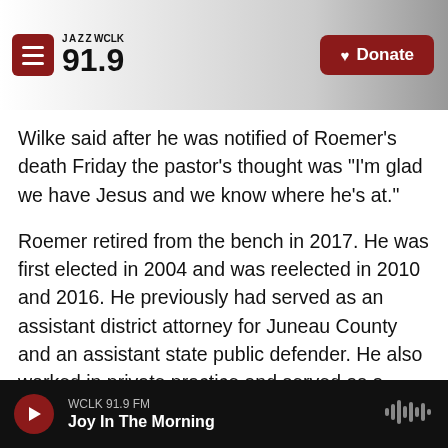JAZZ WCLK 91.9 — Donate
Wilke said after he was notified of Roemer's death Friday the pastor's thought was "I'm glad we have Jesus and we know where he's at."
Roemer retired from the bench in 2017. He was first elected in 2004 and was reelected in 2010 and 2016. He previously had served as an assistant district attorney for Juneau County and an assistant state public defender. He also worked in private practice and served as a lieutenant colonel for the U.S. Army Reserves.
Investigators said there is no immediate danger to
WCLK 91.9 FM — Joy In The Morning